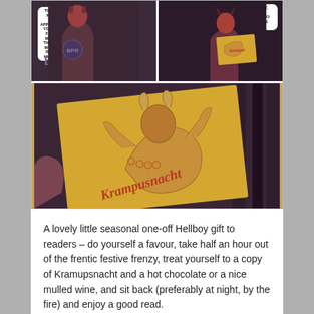[Figure (illustration): Comic book panels from Hellboy. Top row: two panels showing Hellboy characters with speech bubbles ('THANKS, NOW—', 'APPARENTLY YOU TOLD FATHER MULLUR THAT YOU WEREN'T REALLY HUMAN…', 'IN FACT, YOU CLAIM TO BE THIS GUY') and BPR logo. Bottom large panel: close-up of a card/print being held showing a demonic Krampus figure illustration in orange/brown tones with stylized text 'Krampusnacht'.]
A lovely little seasonal one-off Hellboy gift to readers – do yourself a favour, take half an hour out of the frentic festive frenzy, treat yourself to a copy of Kramupsnacht and a hot chocolate or a nice mulled wine, and sit back (preferably at night, by the fire) and enjoy a good read.